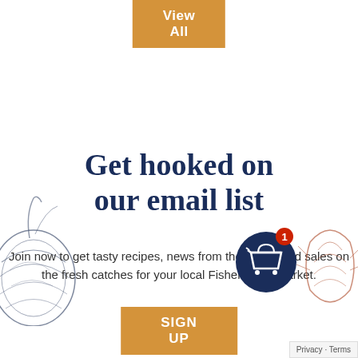View All
Get hooked on our email list
Join now to get tasty recipes, news from the ocean and sales on the fresh catches for your local Fisherman's Market.
SIGN UP